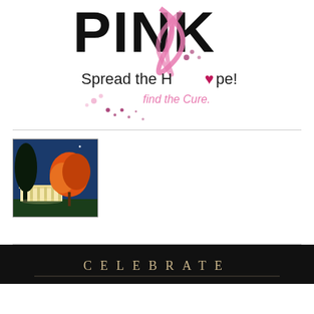[Figure (logo): PINK logo with pink ribbon, text 'Spread the Hope! find the Cure.' in black and pink handwritten style lettering with pink dots]
[Figure (photo): Night/dusk photo of an autumn orange tree lit up with a white classical building/mansion in background under blue twilight sky]
[Figure (other): Black banner with text 'CELEBRATE' in spaced serif letters in gold/tan color]